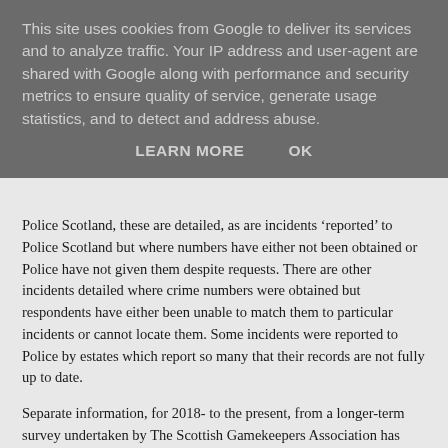This site uses cookies from Google to deliver its services and to analyze traffic. Your IP address and user-agent are shared with Google along with performance and security metrics to ensure quality of service, generate usage statistics, and to detect and address abuse.
LEARN MORE    OK
Police Scotland, these are detailed, as are incidents ‘reported’ to Police Scotland but where numbers have either not been obtained or Police have not given them despite requests. There are other incidents detailed where crime numbers were obtained but respondents have either been unable to match them to particular incidents or cannot locate them. Some incidents were reported to Police by estates which report so many that their records are not fully up to date.
Separate information, for 2018- to the present, from a longer-term survey undertaken by The Scottish Gamekeepers Association has also been presented, at the end of the survey findings.
Grampian Incidents:
3 respondent estates: Key Findings.